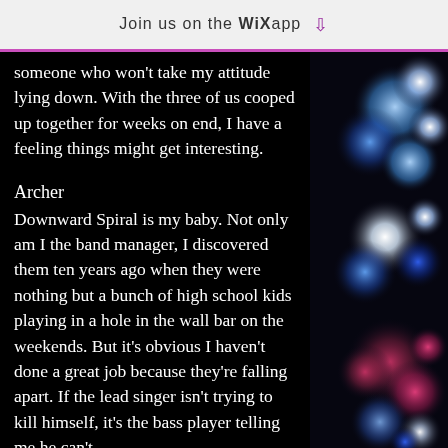Join us on the WiX app ↓
someone who won't take my attitude lying down. With the three of us cooped up together for weeks on end, I have a feeling things might get interesting.
Archer
Downward Spiral is my baby. Not only am I the band manager, I discovered them ten years ago when they were nothing but a bunch of high school kids playing in a hole in the wall bar on the weekends. But it's obvious I haven't done a great job because they're falling apart. If the lead singer isn't trying to kill himself, it's the bass player telling me he can't
[Figure (photo): Bokeh photo with blue, white, and red/pink light circles against a dark background, resembling stage lighting or police lights out of focus.]